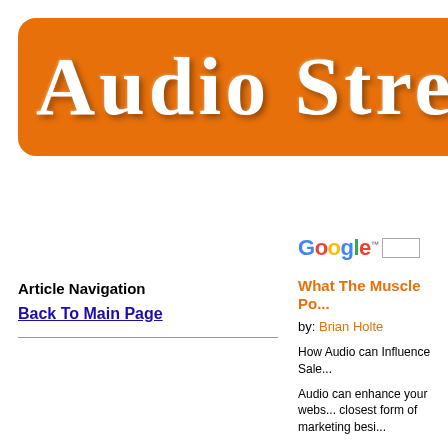[Figure (logo): Audio Stream orange banner logo with white serif text reading 'Audio Stream' (partially cropped)]
Article Navigation
Back To Main Page
[Figure (logo): Google logo with search box]
What The Muscle Po...
by: Brian Holte
How Audio can Influence Sale...
Audio can enhance your webs... closest form of marketing besi...
...